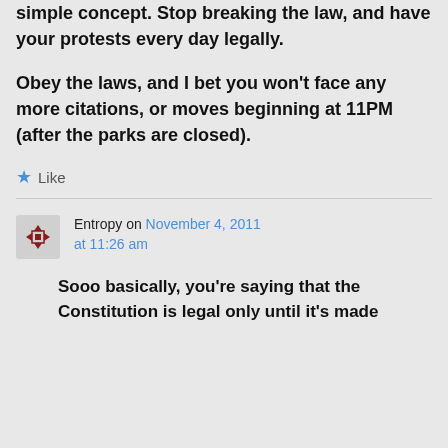simple concept. Stop breaking the law, and have your protests every day legally.
Obey the laws, and I bet you won't face any more citations, or moves beginning at 11PM (after the parks are closed).
★ Like
Entropy on November 4, 2011 at 11:26 am
Sooo basically, you're saying that the Constitution is legal only until it's made